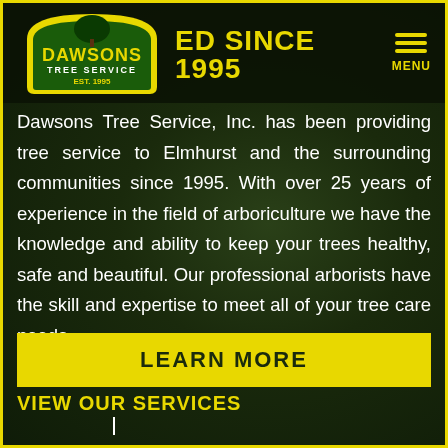[Figure (logo): Dawsons Tree Service logo — green and yellow shield/arch shape with tree silhouette, company name and EST. 1995]
DEDICATED SINCE 1995
Dawsons Tree Service, Inc. has been providing tree service to Elmhurst and the surrounding communities since 1995. With over 25 years of experience in the field of arboriculture we have the knowledge and ability to keep your trees healthy, safe and beautiful. Our professional arborists have the skill and expertise to meet all of your tree care needs.
LEARN MORE
VIEW OUR SERVICES